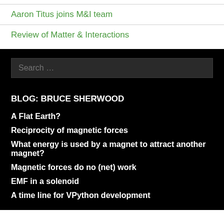Aaron Titus joins M&I team
Review of Matter & Interactions
Search …
BLOG: BRUCE SHERWOOD
A Flat Earth?
Reciprocity of magnetic forces
What energy is used by a magnet to attract another magnet?
Magnetic forces do no (net) work
EMF in a solenoid
A time line for VPython development